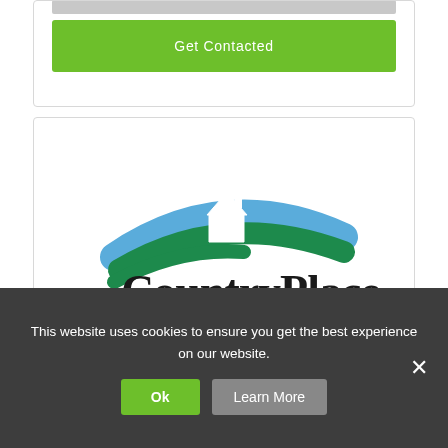[Figure (other): Gray input bar at top]
[Figure (other): Green 'Get Contacted' button]
[Figure (logo): CountryPlace Mortgage logo with blue and green swoosh arcs and house silhouette above the text 'CountryPlace MORTGAGE']
This website uses cookies to ensure you get the best experience on our website.
[Figure (other): Ok button (green) and Learn More button (gray) in cookie banner]